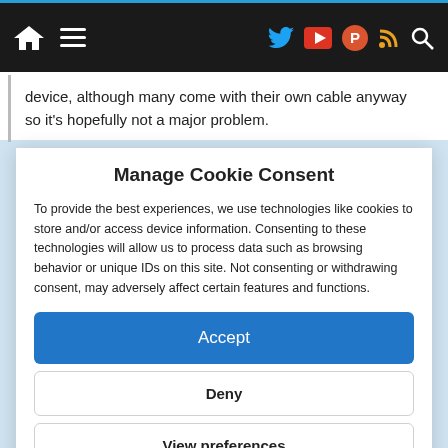Navigation bar with home icon, hamburger menu, Twitter, YouTube, ProductHunt, RSS, and Search icons
device, although many come with their own cable anyway so it’s hopefully not a major problem.
Manage Cookie Consent
To provide the best experiences, we use technologies like cookies to store and/or access device information. Consenting to these technologies will allow us to process data such as browsing behavior or unique IDs on this site. Not consenting or withdrawing consent, may adversely affect certain features and functions.
Accept
Deny
View preferences
Cookie Policy   Privacy Policy and Cookies